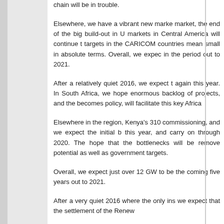chain will be in trouble.
Elsewhere, we have a vibrant new market, the end of the big build-out in markets in Central America will continue to targets in the CARICOM countries mean small in absolute terms. Overall, we expect in the period out to 2021.
After a relatively quiet 2016, we expect again this year. In South Africa, we hope enormous backlog of projects, and the becomes policy, will facilitate this key Africa
Elsewhere in the region, Kenya's 310 commissioning, and we expect the initial b this year, and carry on through 2020. The hope that the bottlenecks will be remove potential as well as government targets.
Overall, we expect just over 12 GW to be the coming five years out to 2021.
After a very quiet 2016 where the only ins we expect that the settlement of the Renew